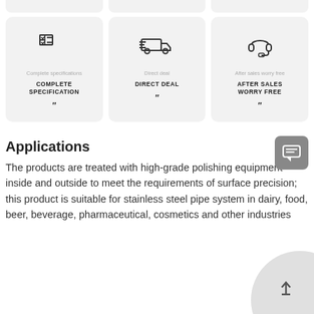[Figure (illustration): Three feature cards: Complete Specification (checklist icon), Direct Deal (delivery truck icon), After Sales Worry Free (headset icon), each with icon, gray label, bold uppercase title, and quotation mark symbol]
Applications
The products are treated with high-grade polishing equipment inside and outside to meet the requirements of surface precision; this product is suitable for stainless steel pipe system in dairy, food, beer, beverage, pharmaceutical, cosmetics and other industries
[Figure (illustration): Chat bubble icon button (gray rounded square with speech bubble lines)]
[Figure (illustration): Bottom right decorative circle with up-arrow scroll-to-top button]